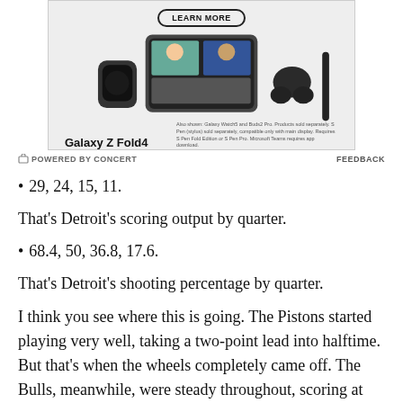[Figure (photo): Samsung Galaxy Z Fold4 advertisement showing a foldable phone, smartwatch, earbuds, and stylus with people on a video call. A 'Learn More' button is shown at the top.]
POWERED BY CONCERT   FEEDBACK
29, 24, 15, 11.
That's Detroit's scoring output by quarter.
68.4, 50, 36.8, 17.6.
That's Detroit's shooting percentage by quarter.
I think you see where this is going. The Pistons started playing very well, taking a two-point lead into halftime. But that's when the wheels completely came off. The Bulls, meanwhile, were steady throughout, scoring at